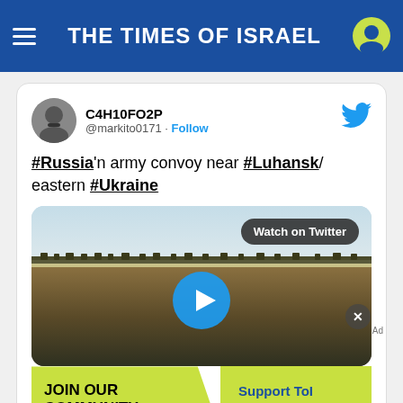THE TIMES OF ISRAEL
[Figure (screenshot): Tweet from @markito0171 (C4H10FO2P) showing a video of a Russian army convoy near Luhansk/eastern Ukraine. The tweet card shows a video thumbnail of a countryside road with a play button, and a 'Watch on Twitter' badge. Below the tweet is an advertisement banner saying 'JOIN OUR COMMUNITY' and 'Support ToI and remove ads'.]